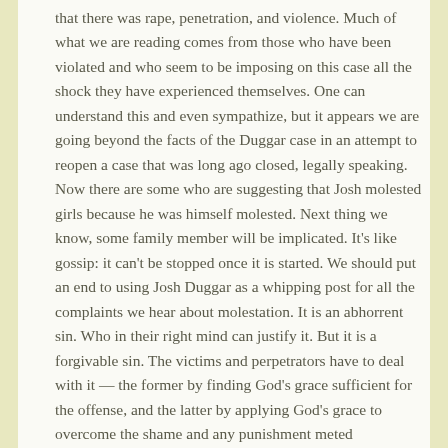that there was rape, penetration, and violence. Much of what we are reading comes from those who have been violated and who seem to be imposing on this case all the shock they have experienced themselves. One can understand this and even sympathize, but it appears we are going beyond the facts of the Duggar case in an attempt to reopen a case that was long ago closed, legally speaking. Now there are some who are suggesting that Josh molested girls because he was himself molested. Next thing we know, some family member will be implicated. It's like gossip: it can't be stopped once it is started. We should put an end to using Josh Duggar as a whipping post for all the complaints we hear about molestation. It is an abhorrent sin. Who in their right mind can justify it. But it is a forgivable sin. The victims and perpetrators have to deal with it — the former by finding God's grace sufficient for the offense, and the latter by applying God's grace to overcome the shame and any punishment meted